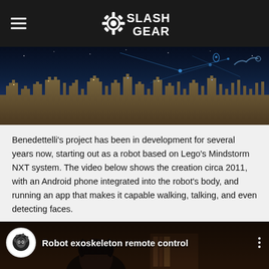SlashGear
[Figure (photo): City skyline at night with glowing digital network overlay and robotic arm graphic]
Benedettelli's project has been in development for several years now, starting out as a robot based on Lego's Mindstorm NXT system. The video below shows the creation circa 2011, with an Android phone integrated into the robot's body, and running an app that makes it capable walking, talking, and even detecting faces.
[Figure (screenshot): YouTube video thumbnail titled 'Robot exoskeleton remote control' with channel icon and person visible in background]